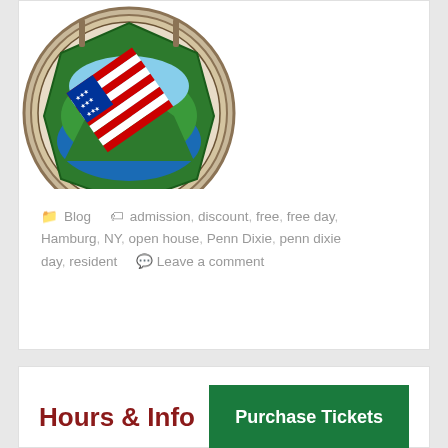[Figure (logo): New York State seal with American flag overlay, circular emblem reading STATE OF NEW YORK]
Blog  admission, discount, free, free day, Hamburg, NY, open house, Penn Dixie, penn dixie day, resident  Leave a comment
Hours & Info
Purchase Tickets
[Figure (map): Gray map area placeholder at bottom of page]